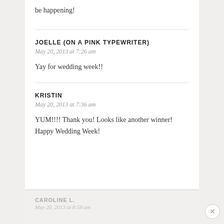be happening!
JOELLE (ON A PINK TYPEWRITER)
May 20, 2013 at 7:26 am
Yay for wedding week!!
KRISTIN
May 20, 2013 at 7:36 am
YUM!!!! Thank you! Looks like another winner! Happy Wedding Week!
CAROLINE L.
May 20, 2013 at 8:58 am